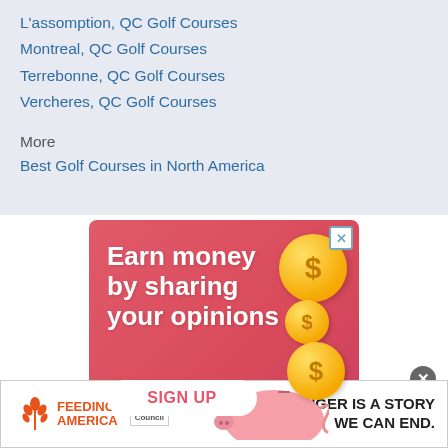L'assomption, QC Golf Courses
Montreal, QC Golf Courses
Terrebonne, QC Golf Courses
Vercheres, QC Golf Courses
More
Best Golf Courses in North America
[Figure (illustration): Advertisement banner: 'Earn money by sharing your opinions' with SIGN UP button, gold coins, and piggy bank illustration on pink/red background]
[Figure (illustration): Feeding America Ad Council banner: 'HUNGER IS A STORY WE CAN END.']